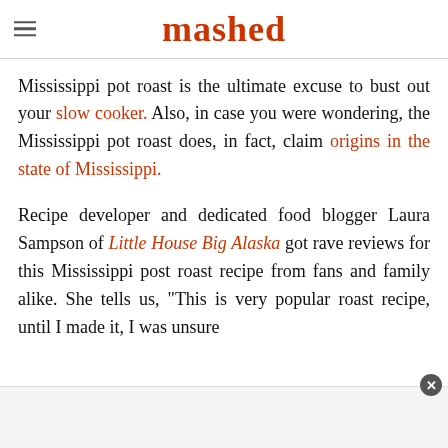mashed
Mississippi pot roast is the ultimate excuse to bust out your slow cooker. Also, in case you were wondering, the Mississippi pot roast does, in fact, claim origins in the state of Mississippi.
Recipe developer and dedicated food blogger Laura Sampson of Little House Big Alaska got rave reviews for this Mississippi post roast recipe from fans and family alike. She tells us, "This is very popular roast recipe, until I made it, I was unsure